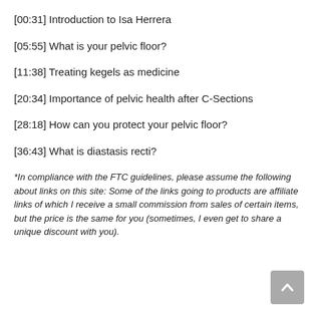[00:31] Introduction to Isa Herrera
[05:55] What is your pelvic floor?
[11:38] Treating kegels as medicine
[20:34] Importance of pelvic health after C-Sections
[28:18] How can you protect your pelvic floor?
[36:43] What is diastasis recti?
*In compliance with the FTC guidelines, please assume the following about links on this site: Some of the links going to products are affiliate links of which I receive a small commission from sales of certain items, but the price is the same for you (sometimes, I even get to share a unique discount with you).